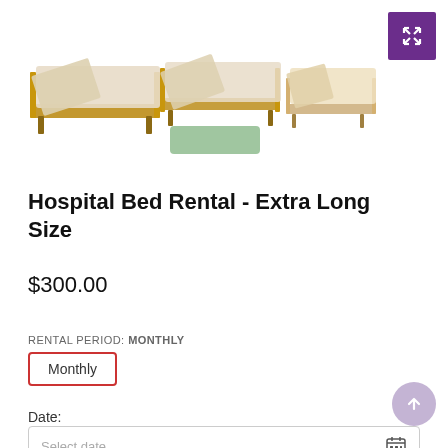[Figure (photo): Three hospital beds shown from different views, with one showing a green mattress alongside the bed frame.]
Hospital Bed Rental - Extra Long Size
$300.00
RENTAL PERIOD: MONTHLY
Monthly
Date:
Select date...